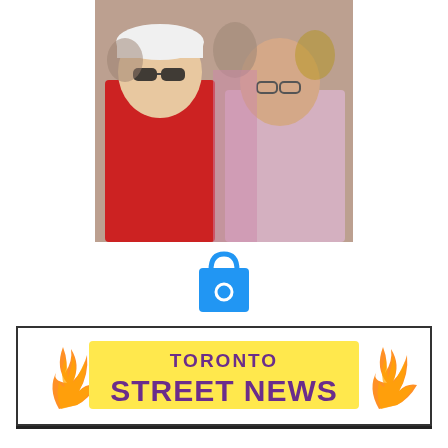[Figure (photo): Crowd of people watching an event outdoors; two individuals visible in foreground, one wearing a white cap and sunglasses in red shirt, another person beside them]
[Figure (other): Blue shopping bag icon with a white circle/lock symbol on the front]
[Figure (logo): Toronto Street News logo — text 'TORONTO STREET NEWS' in bold purple letters on yellow banner with orange flames, inside a rectangular border]
Puppet PM Turdeau working against Canadian Interests?
Battleships and war planes